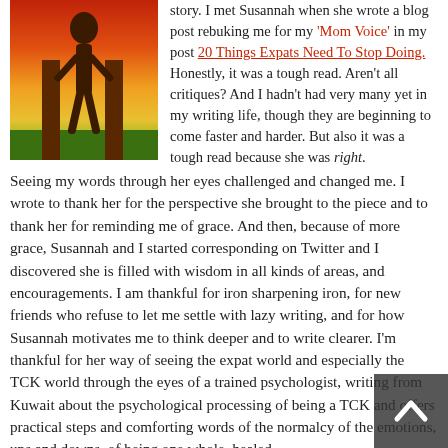[Figure (illustration): Colorful illustration of a person/figure standing, with warm red, orange, yellow and green background, and brown tree trunks]
story. I met Susannah when she wrote a blog post rebuking me for my 'Mom Voice' in my post 20 Things Expats Need To Stop Doing. Honestly, it was a tough read. Aren't all critiques? And I hadn't had very many yet in my writing life, though they are beginning to come faster and harder. But also it was a tough read because she was right. Seeing my words through her eyes challenged and changed me. I wrote to thank her for the perspective she brought to the piece and to thank her for reminding me of grace. And then, because of more grace, Susannah and I started corresponding on Twitter and I discovered she is filled with wisdom in all kinds of areas, and encouragements. I am thankful for iron sharpening iron, for new friends who refuse to let me settle with lazy writing, and for how Susannah motivates me to think deeper and to write clearer. I'm thankful for her way of seeing the expat world and especially the TCK world through the eyes of a trained psychologist, writing from Kuwait about the psychological processing of being a TCK and offers practical steps and comforting words of the normalcy of the emotions, ups and downs, of being one whole, healed
[Figure (other): Scroll-to-top button with upward arrow chevron, dark semi-transparent background, bottom-right corner]